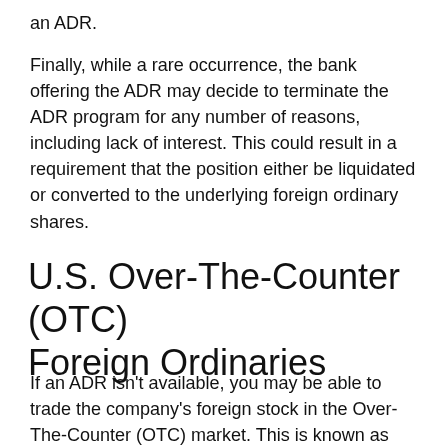an ADR.
Finally, while a rare occurrence, the bank offering the ADR may decide to terminate the ADR program for any number of reasons, including lack of interest. This could result in a requirement that the position either be liquidated or converted to the underlying foreign ordinary shares.
U.S. Over-The-Counter (OTC) Foreign Ordinaries
If an ADR isn't available, you may be able to trade the company's foreign stock in the Over-The-Counter (OTC) market. This is known as trading "foreign